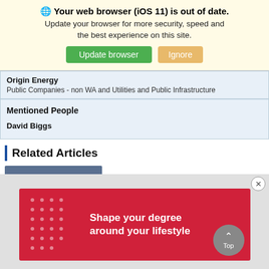🌐 Your web browser (iOS 11) is out of date. Update your browser for more security, speed and the best experience on this site. Update browser | Ignore
| Origin Energy | Public Companies - non WA and Utilities and Public Infrastructure |
| Mentioned People | David Biggs |
Related Articles
18 Aug 2022
[Figure (screenshot): Red advertisement banner reading 'Shape your degree around your lifestyle' with white dot pattern on left side]
Top